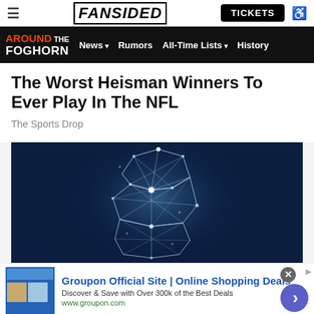FANSIDED | TICKETS
AROUND THE FOGHORN | News | Rumors | All-Time Lists | History
The Worst Heisman Winners To Ever Play In The NFL
The Sports Drop
[Figure (illustration): Dark blue background with a white wireframe/polygon geometric figure resembling a Heisman Trophy or football player silhouette made of connected glowing dots and lines.]
Groupon Official Site | Online Shopping Deals
Discover & Save with Over 300k of the Best Deals
www.groupon.com